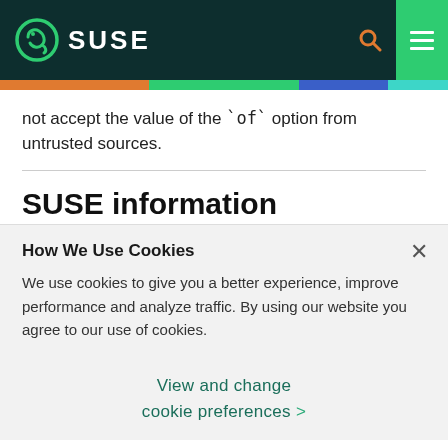SUSE
not accept the value of the `of` option from untrusted sources.
SUSE information
How We Use Cookies
We use cookies to give you a better experience, improve performance and analyze traffic. By using our website you agree to our use of cookies.
View and change cookie preferences >